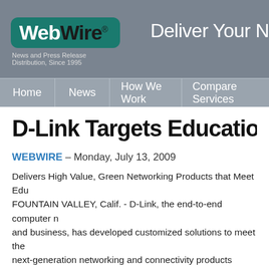WebWire® — News and Press Release Distribution, Since 1995 | Deliver Your N
Home | News | How We Work | Compare Services
D-Link Targets Education
WEBWIRE – Monday, July 13, 2009
Delivers High Value, Green Networking Products that Meet Edu FOUNTAIN VALLEY, Calif. - D-Link, the end-to-end computer n and business, has developed customized solutions to meet the next-generation networking and connectivity products required service, at no extra cost.
D-Link's value proposition to educational institutions includes: